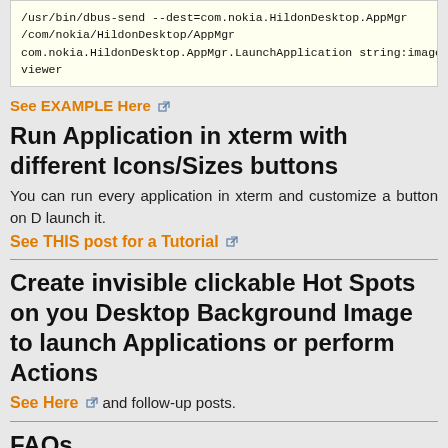/usr/bin/dbus-send --dest=com.nokia.HildonDesktop.AppMgr
/com/nokia/HildonDesktop/AppMgr
com.nokia.HildonDesktop.AppMgr.LaunchApplication string:image
viewer
See EXAMPLE Here 🔗
Run Application in xterm with different Icons/Sizes buttons
You can run every application in xterm and customize a button on D launch it.
See THIS post for a Tutorial 🔗
Create invisible clickable Hot Spots on your Desktop Background Image to launch Applications or perform Actions
See Here 🔗 and follow-up posts.
FAQs
Could you make an easy way to install new